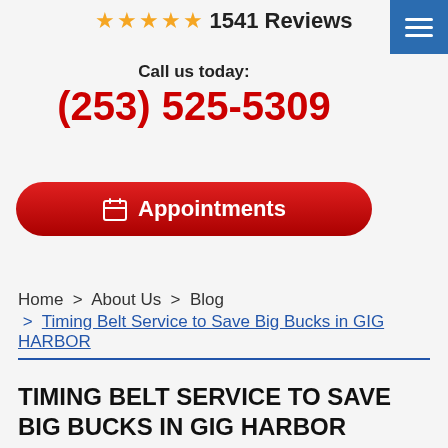★★★★★ 1541 Reviews
Call us today:
(253) 525-5309
Appointments
Home > About Us > Blog > Timing Belt Service to Save Big Bucks in GIG HARBOR
TIMING BELT SERVICE TO SAVE BIG BUCKS IN GIG HARBOR